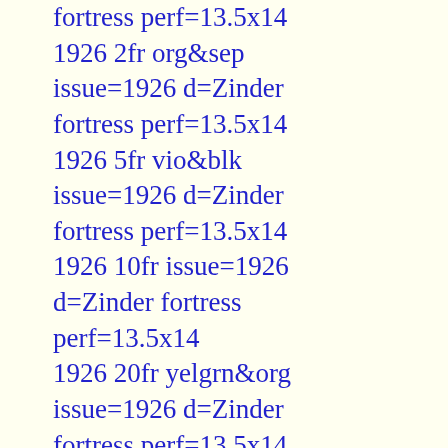fortress perf=13.5x14 1926 2fr org&sep issue=1926 d=Zinder fortress perf=13.5x14 1926 5fr vio&blk issue=1926 d=Zinder fortress perf=13.5x14 1926 10fr issue=1926 d=Zinder fortress perf=13.5x14 1926 20fr yelgrn&org issue=1926 d=Zinder fortress perf=13.5x14 1927 3fr issue=1926 d=Zinder fortress perf=13.5x14 postage due 1927 2c dkbl&red issue=1927 postage due d=landscape with camel & fort perf=14x13.5 postage due 1927 4c ver&blk issue=1927 postage due d=landscape with camel & fort